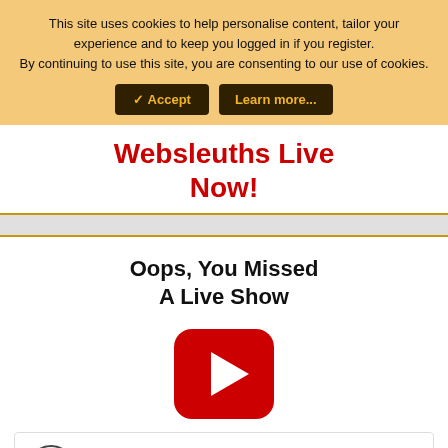This site uses cookies to help personalise content, tailor your experience and to keep you logged in if you register. By continuing to use this site, you are consenting to our use of cookies.
✓ Accept   Learn more...
Websleuths Live Now!
Oops, You Missed A Live Show
[Figure (illustration): Red rounded-square YouTube-style play button icon]
[Figure (other): Advertisement: Tiro auto, Ashburn OPEN 7:30 AM-6PM, 43781 Parkhurst Plaza, Ashburn, with navigation arrow icon]